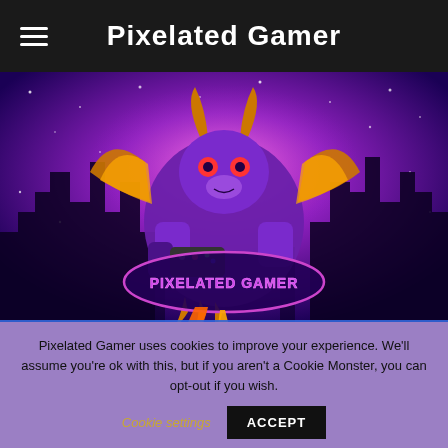Pixelated Gamer
[Figure (illustration): Pixelated Gamer hero banner showing a purple dragon character holding a game controller with city skyline silhouette on purple/pink gradient background. Logo reads PIXELATED GAMER.]
Pixelated Gamer uses cookies to improve your experience. We'll assume you're ok with this, but if you aren't a Cookie Monster, you can opt-out if you wish.
Cookie settings
ACCEPT